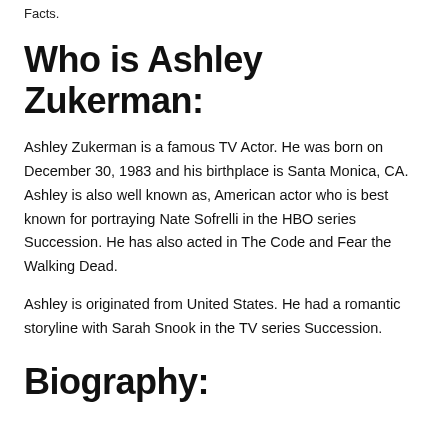Facts.
Who is Ashley Zukerman:
Ashley Zukerman is a famous TV Actor. He was born on December 30, 1983 and his birthplace is Santa Monica, CA. Ashley is also well known as, American actor who is best known for portraying Nate Sofrelli in the HBO series Succession. He has also acted in The Code and Fear the Walking Dead.
Ashley is originated from United States. He had a romantic storyline with Sarah Snook in the TV series Succession.
Biography: